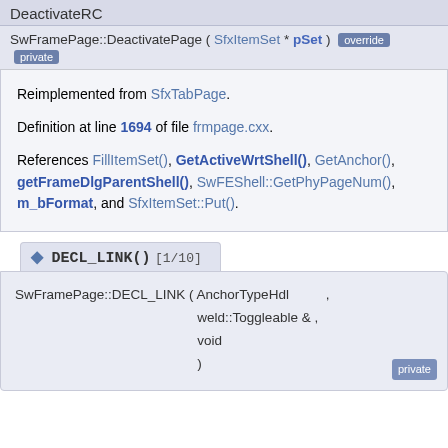DeactivateRC
SwFramePage::DeactivatePage ( SfxItemSet * pSet )  override  private
Reimplemented from SfxTabPage.

Definition at line 1694 of file frmpage.cxx.

References FillItemSet(), GetActiveWrtShell(), GetAnchor(), getFrameDlgParentShell(), SwFEShell::GetPhyPageNum(), m_bFormat, and SfxItemSet::Put().
◆ DECL_LINK() [1/10]
SwFramePage::DECL_LINK ( AnchorTypeHdl , weld::Toggleable & , void )  private